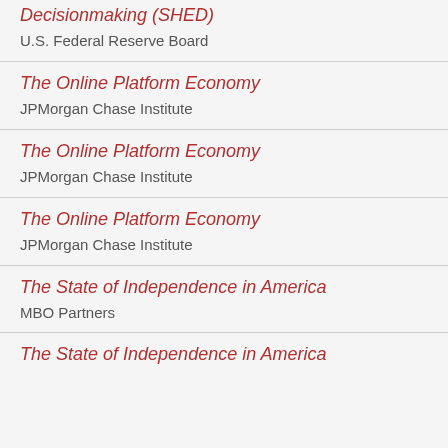Decisionmaking (SHED)
U.S. Federal Reserve Board
The Online Platform Economy
JPMorgan Chase Institute
The Online Platform Economy
JPMorgan Chase Institute
The Online Platform Economy
JPMorgan Chase Institute
The State of Independence in America
MBO Partners
The State of Independence in America